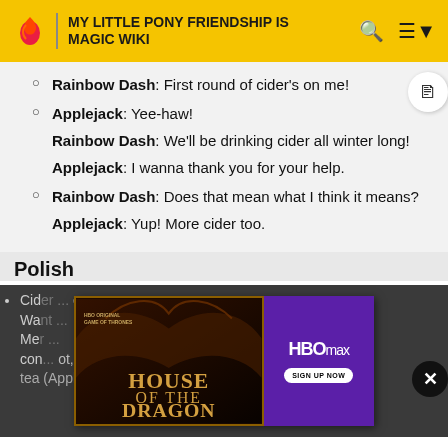MY LITTLE PONY FRIENDSHIP IS MAGIC WIKI
Rainbow Dash: First round of cider's on me!
Applejack: Yee-haw!
Rainbow Dash: We'll be drinking cider all winter long!
Applejack: I wanna thank you for your help.
Rainbow Dash: Does that mean what I think it means?
Applejack: Yup! More cider too.
Polish
Cider ... the ... Want ... Mer ... cor ... ot, or tea (Applejack's Most Wanted)
[Figure (screenshot): HBO Max advertisement for House of the Dragon showing dark fantasy imagery with dragons, alongside HBO Max logo and Sign Up Now button on purple background]